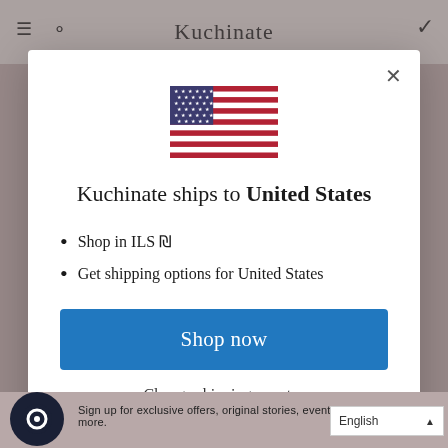Kuchinate
[Figure (screenshot): Modal dialog on Kuchinate website showing a US flag, text 'Kuchinate ships to United States', bullet points about shopping in ILS and shipping options, a 'Shop now' button, and a 'Change shipping country' link]
Kuchinate ships to United States
Shop in ILS ₪
Get shipping options for United States
Shop now
Change shipping country
Sign up for exclusive offers, original stories, events and more.